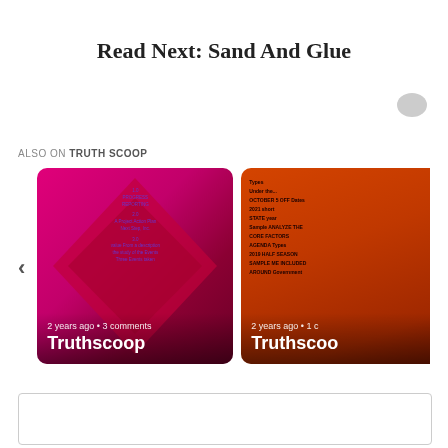Read Next: Sand And Glue
ALSO ON TRUTH SCOOP
[Figure (screenshot): Left carousel card: pink/magenta background with red diamond shape and small purple text listing content. Bottom overlay shows '2 years ago • 3 comments' and 'Truthscoop' title.]
[Figure (screenshot): Right carousel card (partially visible): orange/red background with dark list text. Bottom overlay shows '2 years ago • 1 c' and 'Truthscoo' title (cut off).]